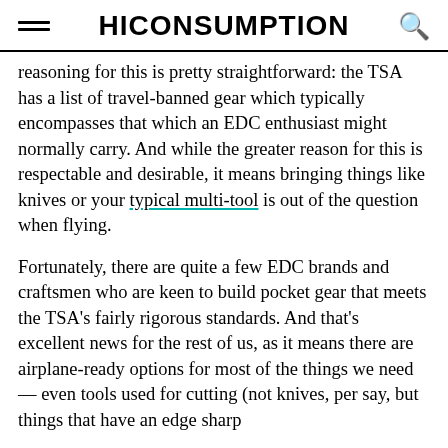HICONSUMPTION
reasoning for this is pretty straightforward: the TSA has a list of travel-banned gear which typically encompasses that which an EDC enthusiast might normally carry. And while the greater reason for this is respectable and desirable, it means bringing things like knives or your typical multi-tool is out of the question when flying.
Fortunately, there are quite a few EDC brands and craftsmen who are keen to build pocket gear that meets the TSA's fairly rigorous standards. And that's excellent news for the rest of us, as it means there are airplane-ready options for most of the things we need — even tools used for cutting (not knives, per say, but things that have an edge sharp